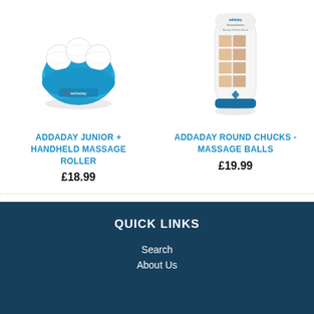[Figure (photo): Blue handheld massage roller device with white rollers, Addaday brand]
ADDADAY JUNIOR + HANDHELD MASSAGE ROLLER
£18.99
[Figure (photo): Cylindrical Addaday Roundchucks massage balls container with exercise illustrations on packaging]
ADDADAY ROUND CHUCKS - MASSAGE BALLS
£19.99
QUICK LINKS
Search
About Us